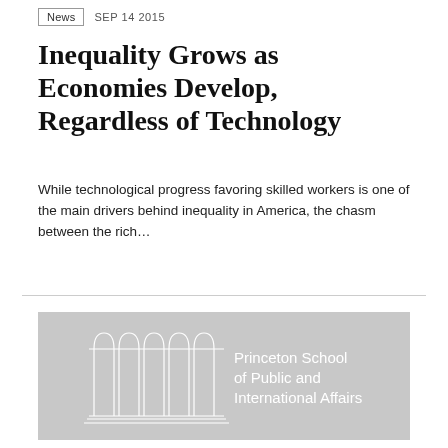News  SEP 14 2015
Inequality Grows as Economies Develop, Regardless of Technology
While technological progress favoring skilled workers is one of the main drivers behind inequality in America, the chasm between the rich...
[Figure (logo): Princeton School of Public and International Affairs logo on gray background — arched columns graphic with white text]